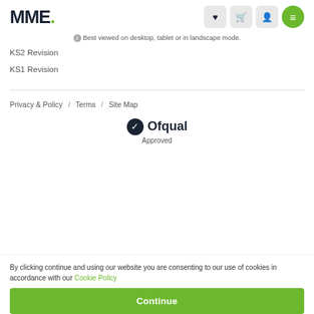MME.
Best viewed on desktop, tablet or in landscape mode.
KS2 Revision
KS1 Revision
Privacy & Policy  /  Terms  /  Site Map
[Figure (logo): Ofqual approved badge with dark circle checkmark and Ofqual text]
By clicking continue and using our website you are consenting to our use of cookies in accordance with our Cookie Policy
Continue